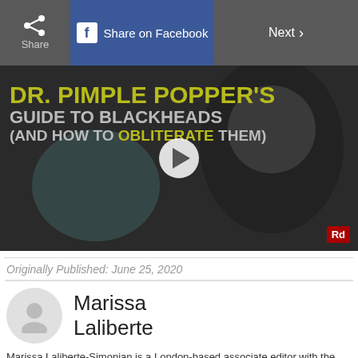Share | Share on Facebook | Next
[Figure (screenshot): Video thumbnail showing 'Dr. Pimple Popper's Guide to Blackheads (And How to Obliterate Them)' with a play button overlay and Rd badge in the corner]
Originally Published: June 25, 2020
Marissa Laliberte
Marissa Laliberte-Simonian is a London-based associate editor with the global promotions